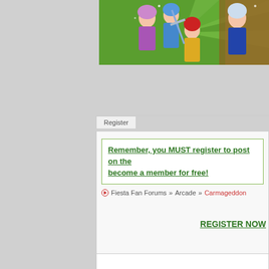[Figure (illustration): Fiesta Fan Forums banner image showing anime-style fantasy game characters including warriors and mages with colorful hair against a green and brown background]
Register
Remember, you MUST register to post on the forums! become a member for free!
Fiesta Fan Forums » Arcade » Carmageddon
REGISTER NOW